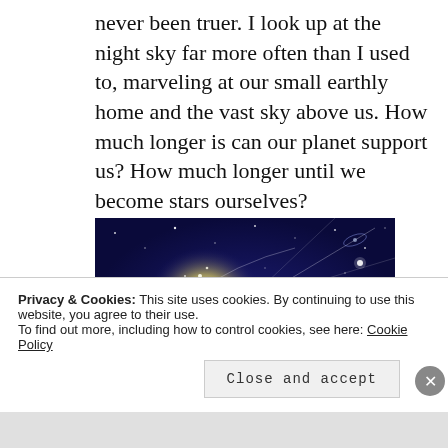never been truer. I look up at the night sky far more often than I used to, marveling at our small earthly home and the vast sky above us. How much longer is can our planet support us? How much longer until we become stars ourselves?
[Figure (illustration): Astronomical illustration showing a star cluster and galaxy with orbital paths and arcs on a deep blue background, depicting a cosmic scene with bright stars, nebulae, and trajectory lines.]
Privacy & Cookies: This site uses cookies. By continuing to use this website, you agree to their use.
To find out more, including how to control cookies, see here: Cookie Policy
Close and accept